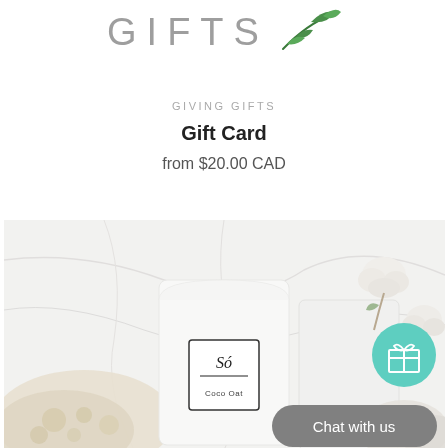[Figure (logo): Logo showing 'GIFTS' text in gray with a green leaf/branch illustration to the right]
GIVING GIFTS
Gift Card
from $20.00 CAD
[Figure (photo): Product photo showing a white pouch labeled 'Só Coco Oat' on a marble surface with cotton flowers and bath salts. A teal circular gift icon button and a gray 'Chat with us' button are overlaid on the image.]